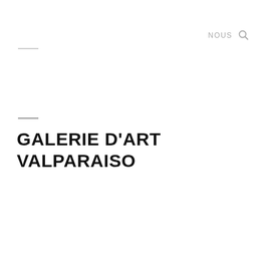NOUS 🔍
GALERIE D'ART VALPARAISO